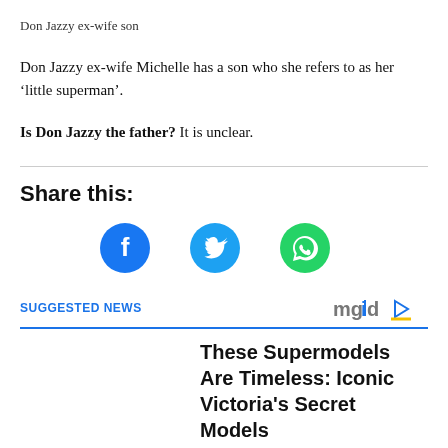Don Jazzy ex-wife son
Don Jazzy ex-wife Michelle has a son who she refers to as her ‘little superman’.
Is Don Jazzy the father? It is unclear.
Share this:
[Figure (infographic): Three social media share buttons: Facebook (blue circle with f icon), Twitter (light blue circle with bird icon), WhatsApp (green circle with phone icon)]
SUGGESTED NEWS
[Figure (logo): mgid logo with play button triangle]
These Supermodels Are Timeless: Iconic Victoria's Secret Models